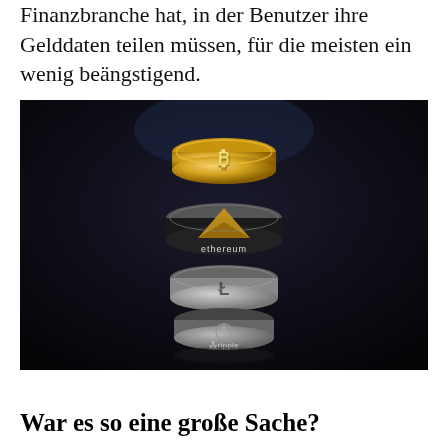Finanzbranche hat, in der Benutzer ihre Gelddaten teilen müssen, für die meisten ein wenig beängstigend.
[Figure (photo): Stack of cryptocurrency coins on a dark background: Bitcoin (gold) on top, Ethereum (black/silver with triangle logo) in the middle labeled 'ethereum', Litecoin (silver with L logo) below, and Ripple (silver) at the bottom.]
War es so eine große Sache?